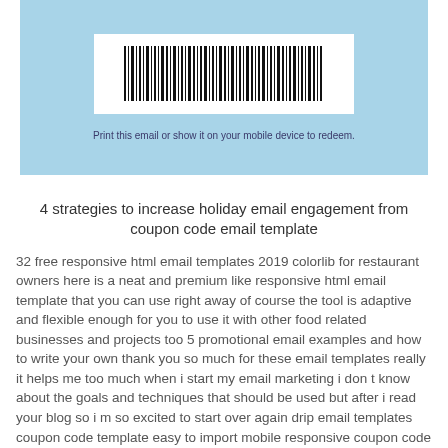[Figure (illustration): Light blue coupon image area with a barcode in a white rectangle labeled 'SHOP' and text 'Print this email or show it on your mobile device to redeem.']
4 strategies to increase holiday email engagement from coupon code email template
32 free responsive html email templates 2019 colorlib for restaurant owners here is a neat and premium like responsive html email template that you can use right away of course the tool is adaptive and flexible enough for you to use it with other food related businesses and projects too 5 promotional email examples and how to write your own thank you so much for these email templates really it helps me too much when i start my email marketing i don t know about the goals and techniques that should be used but after i read your blog so i m so excited to start over again drip email templates coupon code template easy to import mobile responsive coupon code drip email template maintain consistent branding across your drip email campaigns coupon code template archives drip email templates easy to import drip email templates home